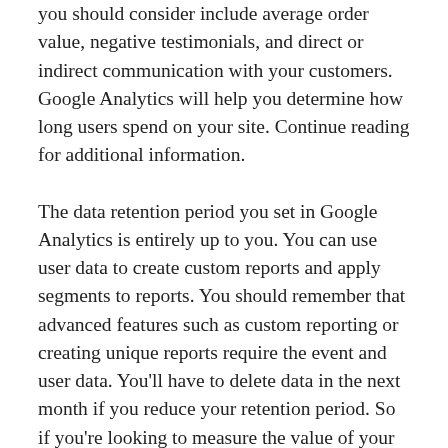you should consider include average order value, negative testimonials, and direct or indirect communication with your customers. Google Analytics will help you determine how long users spend on your site. Continue reading for additional information.
The data retention period you set in Google Analytics is entirely up to you. You can use user data to create custom reports and apply segments to reports. You should remember that advanced features such as custom reporting or creating unique reports require the event and user data. You'll have to delete data in the next month if you reduce your retention period. So if you're looking to measure the value of your audience, consider changing the retention period to one month or three months.